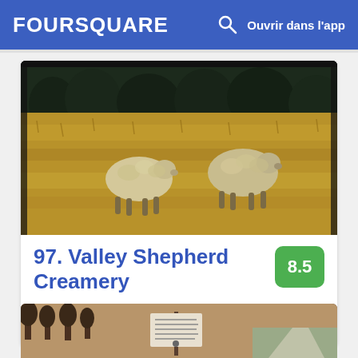FOURSQUARE  Ouvrir dans l'app
[Figure (photo): Two sheep grazing in a golden meadow with a dark treeline in the background]
97. Valley Shepherd Creamery
50 Fairmount Rd, Long Valley, NJ
Ferme · 7 conseils et avis
[Figure (photo): A sign on a post in a wooded park area with a path visible on the right]